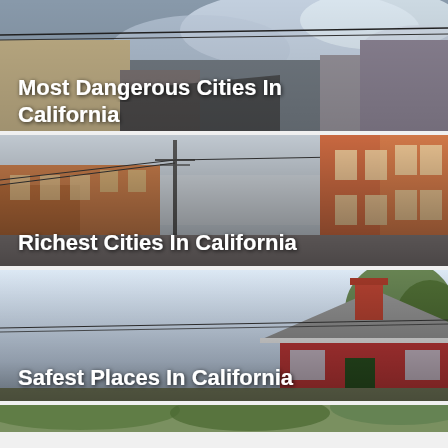[Figure (photo): Urban street scene with power lines and cloudy sky, buildings visible — card for Most Dangerous Cities In California]
Most Dangerous Cities In California
[Figure (photo): Brick buildings street scene with utility poles and overcast sky — card for Richest Cities In California]
Richest Cities In California
[Figure (photo): Residential house with red gable roof and chimney, pale sky and trees — card for Safest Places In California]
Safest Places In California
[Figure (photo): Partial view of a fourth card at bottom, green foliage visible]